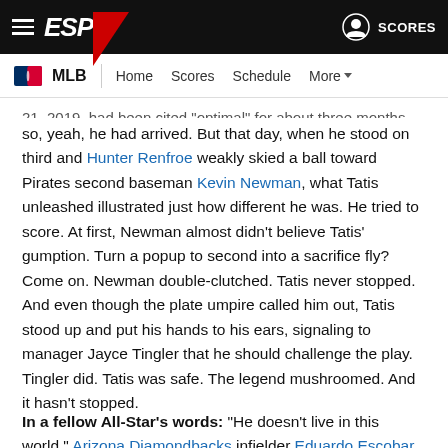ESPN - MLB - Home Scores Schedule More
21, 2019, had been cited "optimal" for about three months, so, yeah, he had arrived. But that day, when he stood on third and Hunter Renfroe weakly skied a ball toward Pirates second baseman Kevin Newman, what Tatis unleashed illustrated just how different he was. He tried to score. At first, Newman almost didn't believe Tatis' gumption. Turn a popup to second into a sacrifice fly? Come on. Newman double-clutched. Tatis never stopped. And even though the plate umpire called him out, Tatis stood up and put his hands to his ears, signaling to manager Jayce Tingler that he should challenge the play. Tingler did. Tatis was safe. The legend mushroomed. And it hasn't stopped.
In a fellow All-Star's words: "He doesn't live in this world," Arizona Diamondbacks infielder Eduardo Escobar said. "He